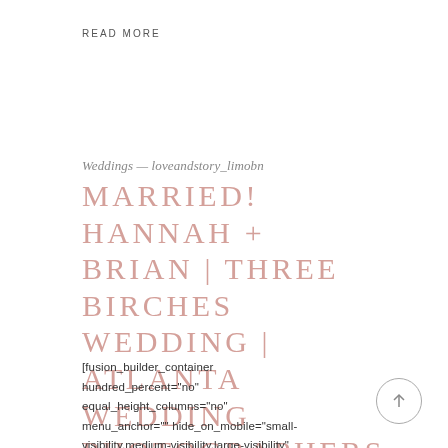READ MORE
Weddings — loveandstory_limobn
MARRIED! HANNAH + BRIAN | THREE BIRCHES WEDDING | ATLANTA WEDDING PHOTOGRAPHERS
[fusion_builder_container hundred_percent="no" equal_height_columns="no" menu_anchor="" hide_on_mobile="small-visibility,medium-visibility,large-visibility" class="" id="" background_color=""